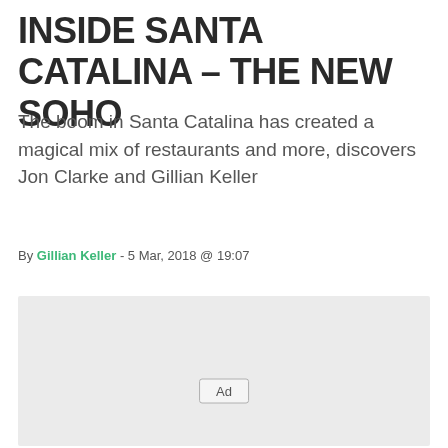INSIDE SANTA CATALINA – THE NEW SOHO
The boom in Santa Catalina has created a magical mix of restaurants and more, discovers Jon Clarke and Gillian Keller
By Gillian Keller - 5 Mar, 2018 @ 19:07
[Figure (other): Advertisement placeholder box with 'Ad' label in center]